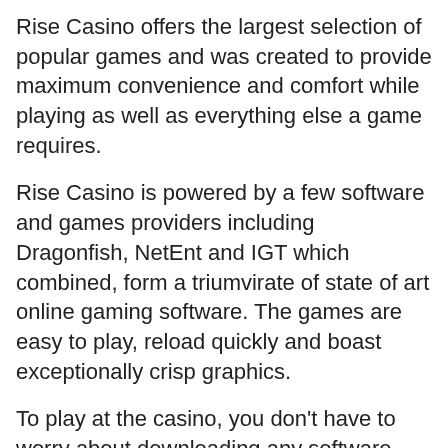Rise Casino offers the largest selection of popular games and was created to provide maximum convenience and comfort while playing as well as everything else a game requires.
Rise Casino is powered by a few software and games providers including Dragonfish, NetEnt and IGT which combined, form a triumvirate of state of art online gaming software. The games are easy to play, reload quickly and boast exceptionally crisp graphics.
To play at the casino, you don't have to worry about downloading any software - Rise Casino is full instant play. The cutting edge HTML5 mobile technology, is fully compatible with mobile devices powered by Android, Windows and iOS operating systems.
Rise Casino presents players with a full ledger of 300 games to choose from, offering the most popular card and table games, a wide array of video poker games, a few specialty games like Keno and Bingo, and of course an enormous variety of online slots.